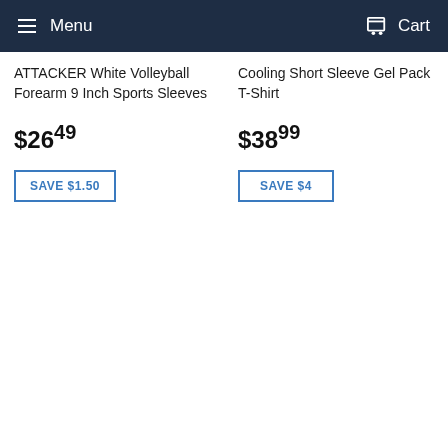Menu   Cart
ATTACKER White Volleyball Forearm 9 Inch Sports Sleeves
$26.49
SAVE $1.50
Cooling Short Sleeve Gel Pack T-Shirt
$38.99
SAVE $4